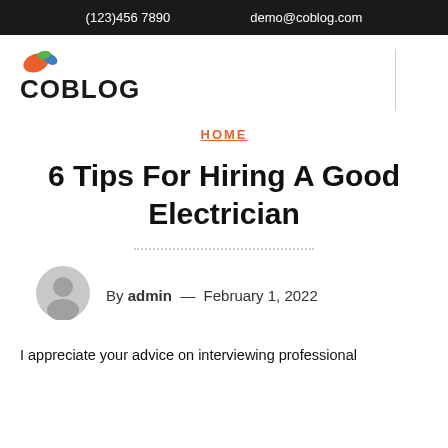(123)456 7890   demo@coblog.com
[Figure (logo): CoBlog logo with colorful leaf/bird icon above the text COBLOG in bold black]
HOME
6 Tips For Hiring A Good Electrician
[Figure (photo): Grey avatar/user silhouette icon]
By admin — February 1, 2022
I appreciate your advice on interviewing professional